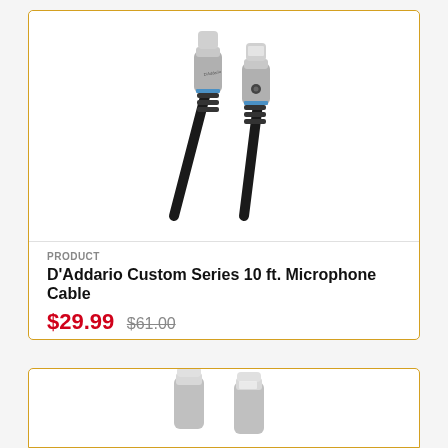[Figure (photo): D'Addario microphone cable showing two XLR connectors with silver metallic ends and black cable body, photographed on white background]
PRODUCT
D'Addario Custom Series 10 ft. Microphone Cable
$29.99 $61.00
[Figure (photo): Partial view of a second product card showing XLR connector ends of another cable, cut off at bottom of page]